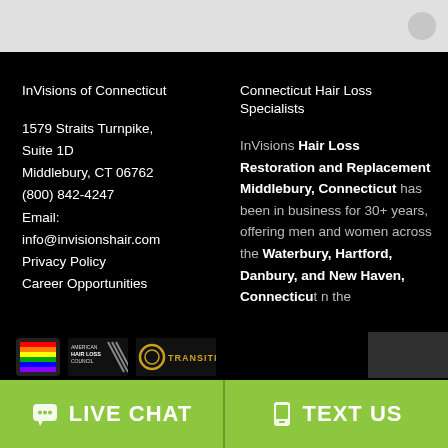InVisions of Connecticut
1579 Straits Turnpike, Suite 1D
Middlebury, CT 06762
(800) 842-4247
Email:
info@invisionshair.com
Privacy Policy
Career Opportunities
[Figure (logo): Pride rainbow flag logo, American Hair Loss Council logo, Transitions logo]
Connecticut Hair Loss Specialists
InVisions Hair Loss Restoration and Replacement Middlebury, Connecticut has been in business for 30+ years, offering men and women across the Waterbury, Hartford, Danbury, and New Haven, Connecticut n the
LIVE CHAT
TEXT US